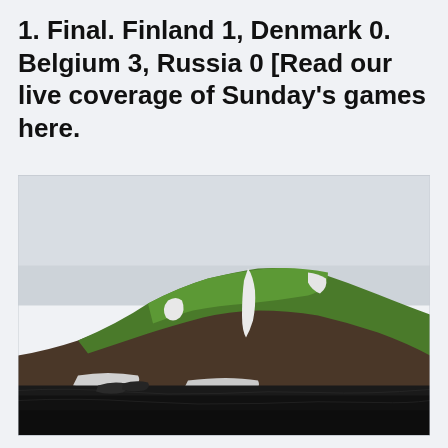1. Final. Finland 1, Denmark 0. Belgium 3, Russia 0 [Read our live coverage of Sunday's games here.
[Figure (photo): Landscape photograph of a green moss-covered mountain with snow patches, under an overcast sky, with a dark volcanic black sand/rock foreground.]